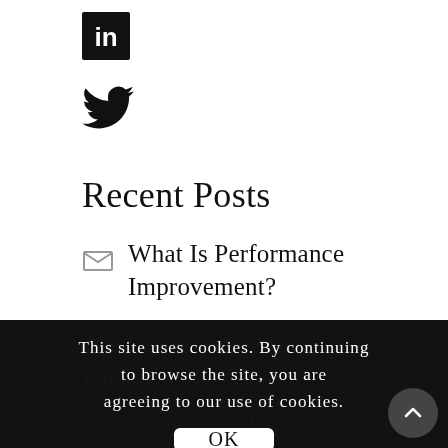[Figure (logo): LinkedIn logo icon (white 'in' on black square background)]
[Figure (logo): Twitter bird logo icon in black]
Recent Posts
What Is Performance Improvement?
This site uses cookies. By continuing to browse the site, you are agreeing to our use of cookies.
OK